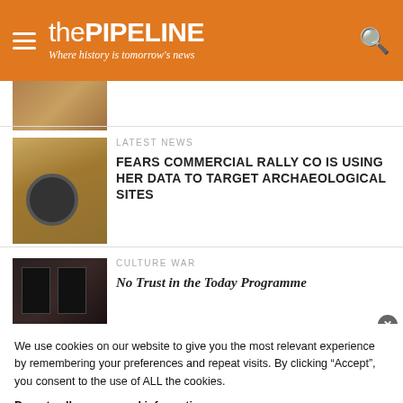thePIPELINE — Where history is tomorrow's news
[Figure (photo): Partial thumbnail image, top of article list, cropped]
LATEST NEWS
FEARS COMMERCIAL RALLY CO IS USING HER DATA TO TARGET ARCHAEOLOGICAL SITES
[Figure (photo): Straw/hay thumbnail photo for archaeological sites article]
CULTURE WAR
No Trust in the Today Programme
[Figure (photo): Dark interior thumbnail photo for culture war article]
We use cookies on our website to give you the most relevant experience by remembering your preferences and repeat visits. By clicking “Accept”, you consent to the use of ALL the cookies.
Do not sell my personal information.
Cookie settings   ACCEPT